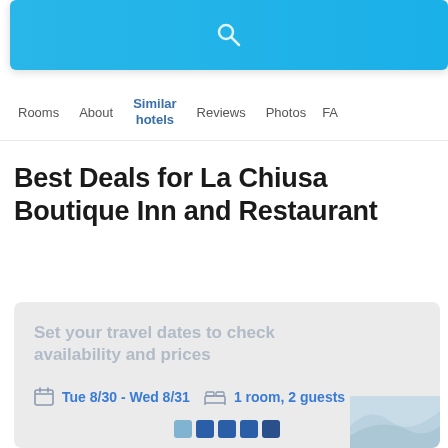[Figure (screenshot): Blue search bar at the top of a hotel booking page with a search icon]
Rooms  About  Similar hotels  Reviews  Photos  FA...
Best Deals for La Chiusa Boutique Inn and Restaurant
Set your travel dates to check availability and prices
Tue 8/30 - Wed 8/31  1 room, 2 guests